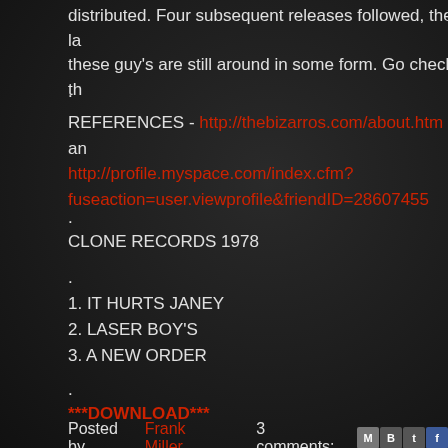distributed. Four subsequent releases followed, the la these guy's are still around in some form. Go check th
.
REFERENCES - http://thebizarros.com/about.htm and http://profile.myspace.com/index.cfm?fuseaction=user.viewprofile&friendID=28607455
.
CLONE RECORDS 1978
.
1. IT HURTS JANEY
2. LASER BOY'S
3. A NEW ORDER
.
***DOWNLOAD***
Posted by Frank Miller   3 comments: